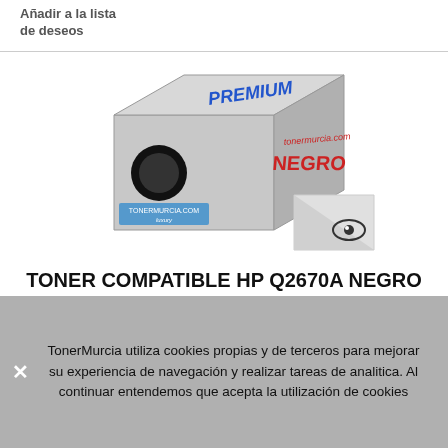Añadir a la lista de deseos
[Figure (photo): Product image of a toner cartridge box labeled PREMIUM NEGRO for tonermurcia.com, grey box with blue PREMIUM text and red NEGRO text, with a small circular eye icon in the bottom right]
TONER COMPATIBLE HP Q2670A NEGRO PREMIUM 6k
Color LaserJet 3500 Series Color LaserJet 3500N Color LaserJet 3550 Series Color LaserJet 3550N Color LaserJet 3700 Color LaserJet 3700DN Color LaserJet 3700DTN Color LaserJet 3700N...
TonerMurcia utiliza cookies propias y de terceros para mejorar su experiencia de navegación y realizar tareas de analitica. Al continuar entendemos que acepta la utilización de cookies